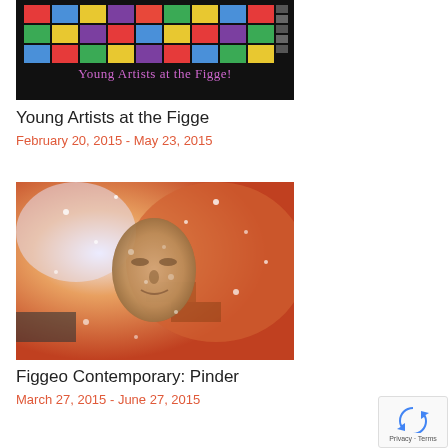[Figure (photo): Colorful quilted grid artwork with text 'Young Artists at the Figge!' on black background]
Young Artists at the Figge
February 20, 2015 - May 23, 2015
[Figure (photo): Abstract artistic photo of a person's face with orange and white tones, snowy texture]
Figgeo Contemporary: Pinder
March 27, 2015 - June 27, 2015